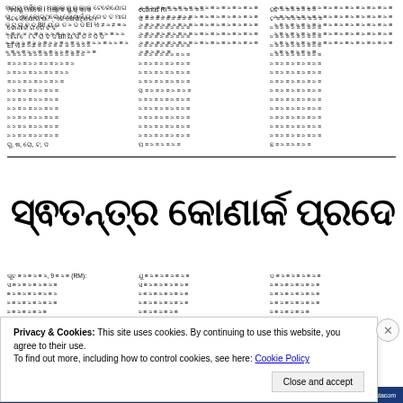Odia language newspaper article text in three columns at top of page
ସ୍ଵତନ୍ତ୍ର କୋଣାର୍କ ପ୍ରଦେଶ ଦାବିରେ ଗଣଧାରଣା
Odia article body text in three columns below the title
Privacy & Cookies: This site uses cookies. By continuing to use this website, you agree to their use. To find out more, including how to control cookies, see here: Cookie Policy